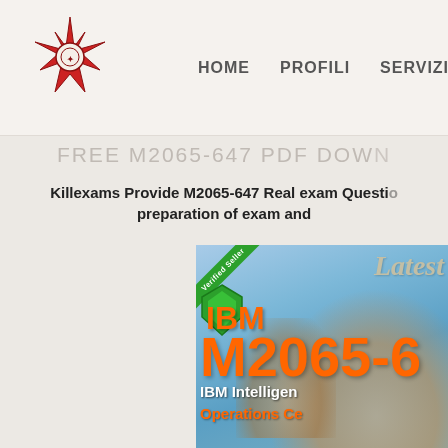HOME   PROFILI   SERVIZI   LINK U
FREE M2065-647 PDF DOWNLOAD
Killexams Provide M2065-647 Real exam Questions for preparation of exam and
[Figure (illustration): IBM M2065-647 exam certification product advertisement image showing 'Latest' text, 'Verified Seller' green ribbon badge, IBM M2065-6 in large orange text, IBM Intelligent Operations Center subtitle, and thumbs up hands in background]